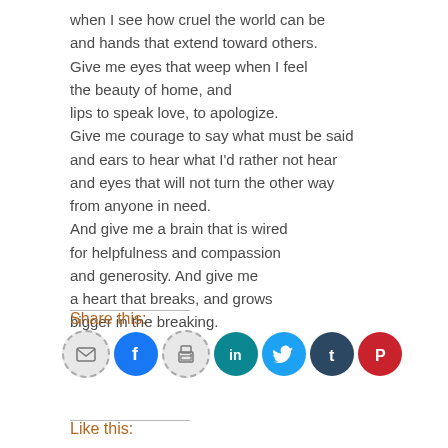when I see how cruel the world can be
and hands that extend toward others.
Give me eyes that weep when I feel
the beauty of home, and
lips to speak love, to apologize.
Give me courage to say what must be said
and ears to hear what I'd rather not hear
and eyes that will not turn the other way
from anyone in need.
And give me a brain that is wired
for helpfulness and compassion
and generosity. And give me
a heart that breaks, and grows
bigger in the breaking.
Share this:
[Figure (infographic): Row of social share icon circles: email (gray dashed), Facebook (blue), print (gray dashed), LinkedIn (teal), Twitter (light blue), Tumblr (dark blue), Pinterest (red)]
Like this: